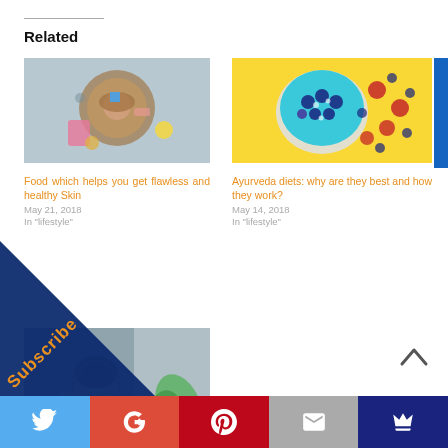Related
[Figure (photo): Woman viewed from above sitting with beauty products and accessories on a wooden tray]
Food which helps you get flawless and healthy Skin
May 21, 2018
In "lifestyle"
[Figure (photo): Blue smoothie bowl topped with blueberries and raspberries on a yellow background]
Ayurveda diets: why are they best and how they work?
May 14, 2018
In "lifestyle"
[Figure (photo): Woman with face mask applying skincare product while smiling near a window with plants]
...ing Sunday Self-...
Subscribe